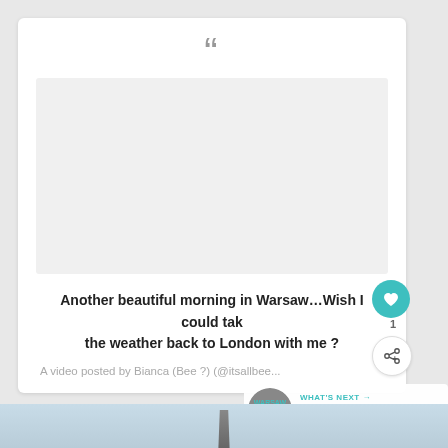[Figure (screenshot): Social media embed card showing a video post with quotation marks, a video placeholder area, post text, like and share buttons, and a 'What's Next' recommendation banner for 'My Weekend In Warsaw']
Another beautiful morning in Warsaw…Wish I could take the weather back to London with me ?
A video posted by Bianca (Bee ?) (@itsallbee...)
WHAT'S NEXT → My Weekend In Warsaw |...